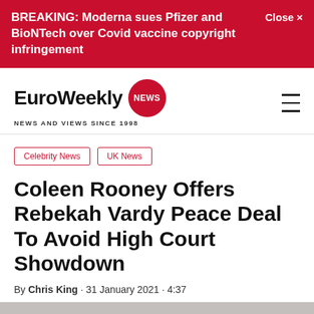BREAKING: Moderna sues Pfizer and BioNTech over Covid vaccine copyright infringement   Close ×
[Figure (logo): EuroWeekly NEWS logo with red circular badge. Tagline: NEWS AND VIEWS SINCE 1998]
Celebrity News
UK News
Coleen Rooney Offers Rebekah Vardy Peace Deal To Avoid High Court Showdown
By Chris King · 31 January 2021 · 4:37
[Figure (photo): Bottom portion of page showing top of a person's head with reddish-brown hair against a grey background]